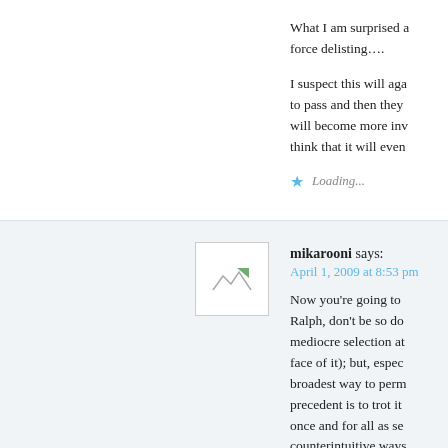What I am surprised a force delisting….
I suspect this will aga to pass and then they will become more inv think that it will even
Loading...
mikarooni says:
April 1, 2009 at 8:53 pm
Now you're going to Ralph, don't be so do mediocre selection at face of it); but, espec broadest way to perm precedent is to trot it once and for all as se counterintuitive ways
Loading...